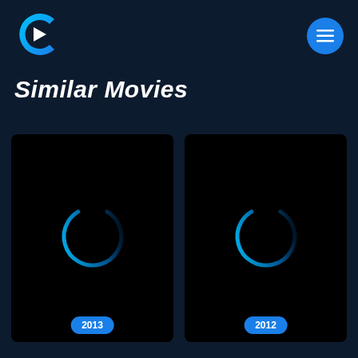[Figure (logo): Streaming app logo: cyan/blue C-shape with white play triangle, on dark navy background. Menu hamburger button (three white lines) on blue circle in top right.]
Similar Movies
[Figure (screenshot): Movie card 1 with black background, cyan loading spinner circle, and '2013' blue badge at bottom]
[Figure (screenshot): Movie card 2 with black background, cyan loading spinner circle, and '2012' blue badge at bottom]